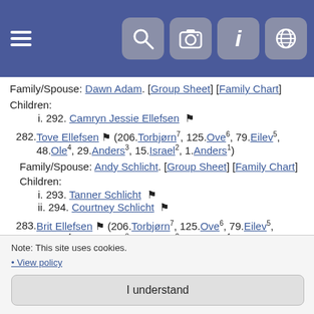[Figure (screenshot): App header bar with hamburger menu icon and four icon buttons: search, camera, info, globe]
Family/Spouse: Dawn Adam. [Group Sheet] [Family Chart]
Children:
i. 292. Camryn Jessie Ellefsen
282. Tove Ellefsen (206.Torbjørn7, 125.Ove6, 79.Eilev5, 48.Ole4, 29.Anders3, 15.Israel2, 1.Anders1)
Family/Spouse: Andy Schlicht. [Group Sheet] [Family Chart]
Children:
i. 293. Tanner Schlicht
ii. 294. Courtney Schlicht
283. Brit Ellefsen (206.Torbjørn7, 125.Ove6, 79.Eilev5, 48.Ole4, 29.Anders3, 15.Israel2, 1.Anders1)
Family/Spouse: Alessandro Bottega. [Group Sheet] [Family Chart]
Note: This site uses cookies.
• View policy
I understand